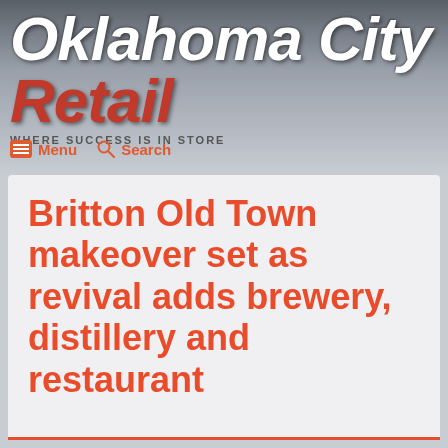Oklahoma City Retail — WHERE SUCCESS IS IN STORE
Britton Old Town makeover set as revival adds brewery, distillery and restaurant
Published Thursday, June 23, 2022
by Steve Lackmeyer